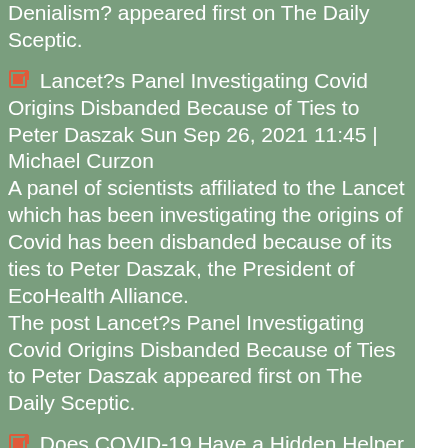Denialism? appeared first on The Daily Sceptic.
Lancet?s Panel Investigating Covid Origins Disbanded Because of Ties to Peter Daszak Sun Sep 26, 2021 11:45 | Michael Curzon A panel of scientists affiliated to the Lancet which has been investigating the origins of Covid has been disbanded because of its ties to Peter Daszak, the President of EcoHealth Alliance. The post Lancet?s Panel Investigating Covid Origins Disbanded Because of Ties to Peter Daszak appeared first on The Daily Sceptic.
Does COVID-19 Have a Hidden Helper That Sometimes Makes it Deadly? Sun Sep 26, 2021 07:00 | Will Jones The Spanish flu and Swine flu are both made much worse when a particular bacterium is present at the